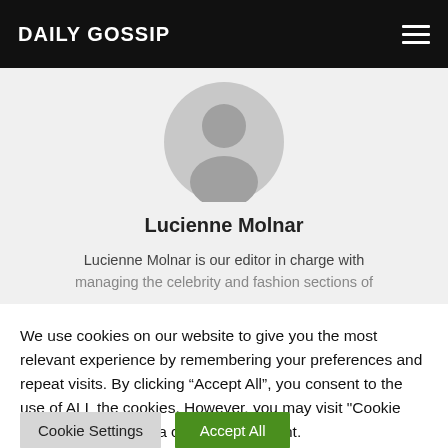DAILY GOSSIP
[Figure (illustration): Generic user avatar placeholder circle with silhouette icon in grey]
Lucienne Molnar
Lucienne Molnar is our editor in charge with managing the celebrity and fashion sections of
We use cookies on our website to give you the most relevant experience by remembering your preferences and repeat visits. By clicking “Accept All”, you consent to the use of ALL the cookies. However, you may visit "Cookie Settings" to provide a controlled consent.